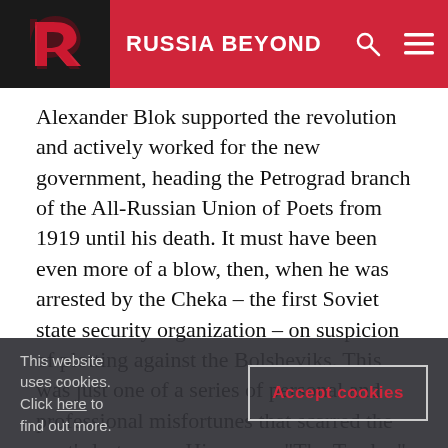RUSSIA BEYOND
Alexander Blok supported the revolution and actively worked for the new government, heading the Petrograd branch of the All-Russian Union of Poets from 1919 until his death. It must have been even more of a blow, then, when he was arrested by the Cheka – the first Soviet state security organization – on suspicion of plotting against the Bolsheviks. This was just one of a series of personal and professional misfortunes that scarred the poet's last years. His poems “The Twelve” and “The Scythians” were panned by most critics, and he drifted apart from his wife, actress Lyubov
This website uses cookies. Click here to find out more.